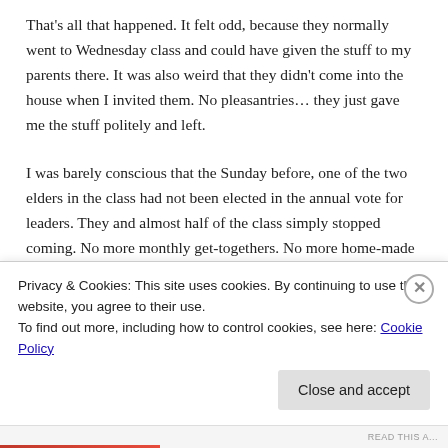That's all that happened. It felt odd, because they normally went to Wednesday class and could have given the stuff to my parents there. It was also weird that they didn't come into the house when I invited them. No pleasantries… they just gave me the stuff politely and left.
I was barely conscious that the Sunday before, one of the two elders in the class had not been elected in the annual vote for leaders. They and almost half of the class simply stopped coming. No more monthly get-togethers. No more home-made noodles that Jim's wife used to make. My parents never explained it to me, and barely mentioned Jim. Dan, the other…
Privacy & Cookies: This site uses cookies. By continuing to use this website, you agree to their use.
To find out more, including how to control cookies, see here: Cookie Policy